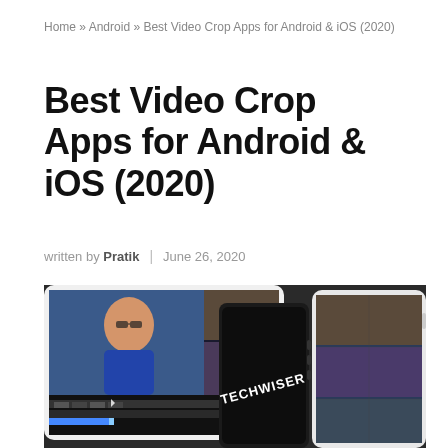Home » Android » Best Video Crop Apps for Android & iOS (2020)
Best Video Crop Apps for Android & iOS (2020)
written by Pratik  |  June 26, 2020
[Figure (photo): Photo of tablets and phones on a dark surface displaying a video editing app, with a phone in the center showing the text TECHWISER]